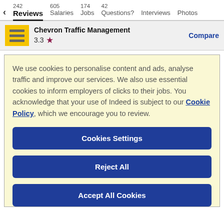< Reviews 242 | Salaries 605 | Jobs 174 | Questions? 42 | Interviews | Photos
Chevron Traffic Management 3.3 ★ Compare
We use cookies to personalise content and ads, analyse traffic and improve our services. We also use essential cookies to inform employers of clicks to their jobs. You acknowledge that your use of Indeed is subject to our Cookie Policy, which we encourage you to review.
Cookies Settings
Reject All
Accept All Cookies